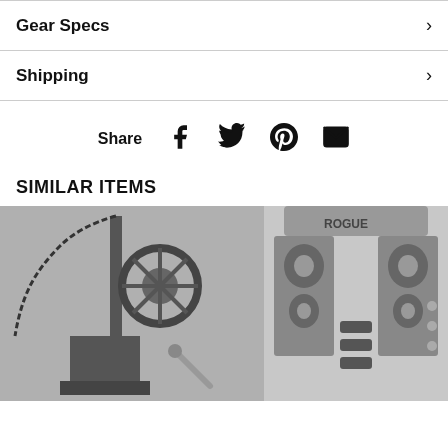Gear Specs
Shipping
Share
SIMILAR ITEMS
[Figure (photo): Black and white photo of a gym cable pulley machine attachment with chain and mechanical components]
[Figure (photo): Black and white photo of a Rogue branded gym rack/rig attachment component with perforated metal plates]